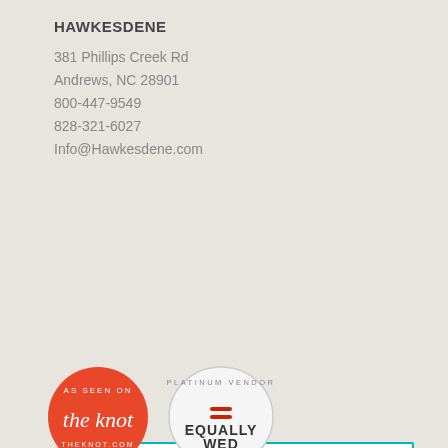HAWKESDENE
381 Phillips Creek Rd
Andrews, NC 28901
800-447-9549
828-321-6027
Info@Hawkesdene.com
[Figure (logo): WeddingWire logo box with 116 Reviews Rated badge and Couples' Choice Awards 2022 badge]
[Figure (logo): The Knot 'As Seen On' badge (red circle) and Equally Wed Platinum Vendor 2022 badge (white oval)]